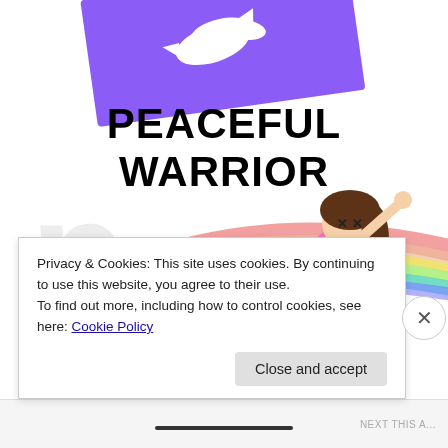[Figure (illustration): Purple banner/flag with white dove or cloud shape at top of page, slightly rotated]
PEACEFUL WARRIOR
[Figure (illustration): Cartoon illustration of a girl in pink doing a dance move with arm raised, with a colorful rainbow arc in the background and a large faded 'p' letter]
Privacy & Cookies: This site uses cookies. By continuing to use this website, you agree to their use.
To find out more, including how to control cookies, see here: Cookie Policy
Close and accept